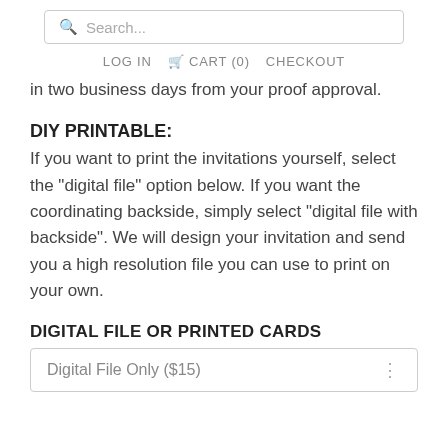Search... LOG IN  CART (0)  CHECKOUT
in two business days from your proof approval.
DIY PRINTABLE:
If you want to print the invitations yourself, select the "digital file" option below. If you want the coordinating backside, simply select "digital file with backside". We will design your invitation and send you a high resolution file you can use to print on your own.
DIGITAL FILE OR PRINTED CARDS
Digital File Only ($15)